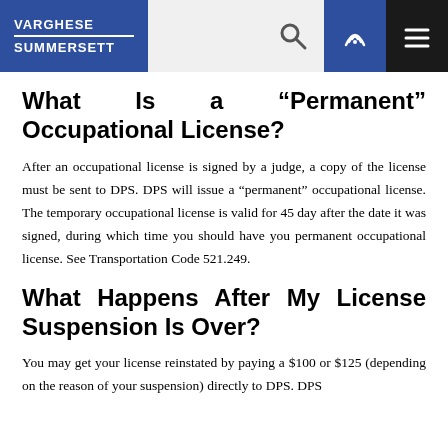VARGHESE SUMMERSETT
What Is a “Permanent” Occupational License?
After an occupational license is signed by a judge, a copy of the license must be sent to DPS. DPS will issue a “permanent” occupational license. The temporary occupational license is valid for 45 day after the date it was signed, during which time you should have you permanent occupational license. See Transportation Code 521.249.
What Happens After My License Suspension Is Over?
You may get your license reinstated by paying a $100 or $125 (depending on the reason of your suspension) directly to DPS. DPS